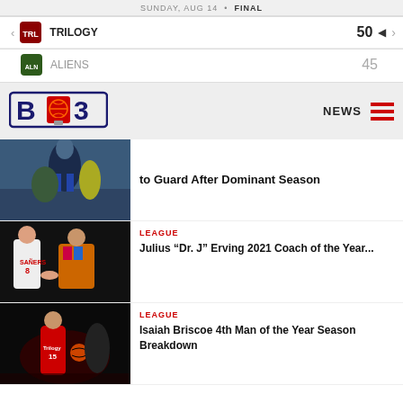SUNDAY, AUG 14 • FINAL
| Team | Score |
| --- | --- |
| TRILOGY | 50 |
| ALIENS | 45 |
[Figure (logo): BIG3 basketball league logo]
NEWS
[Figure (photo): Basketball action shot - player dunking]
to Guard After Dominant Season
[Figure (photo): Julius Dr. J Erving with player number 8 Sanders]
LEAGUE
Julius "Dr. J" Erving 2021 Coach of the Year...
[Figure (photo): Isaiah Briscoe in red uniform dribbling basketball]
LEAGUE
Isaiah Briscoe 4th Man of the Year Season Breakdown